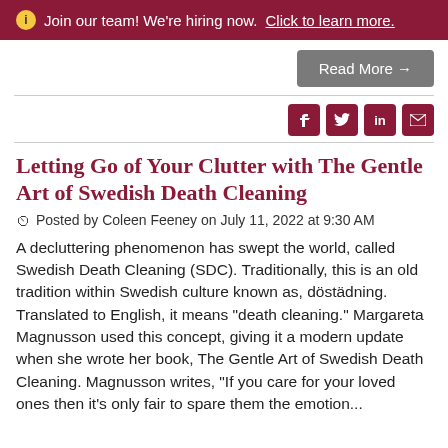ⓘ Join our team! We're hiring now. Click to learn more.
Read More →
Social share icons: Facebook, Twitter, LinkedIn, Email
Letting Go of Your Clutter with The Gentle Art of Swedish Death Cleaning
Posted by Coleen Feeney on July 11, 2022 at 9:30 AM
A decluttering phenomenon has swept the world, called Swedish Death Cleaning (SDC). Traditionally, this is an old tradition within Swedish culture known as, döstädning. Translated to English, it means "death cleaning." Margareta Magnusson used this concept, giving it a modern update when she wrote her book, The Gentle Art of Swedish Death Cleaning. Magnusson writes, "If you care for your loved ones then it's only fair to spare them the emotion...